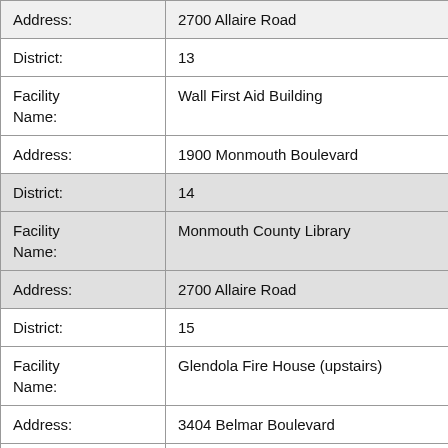| Field | Value |
| --- | --- |
| Address: | 2700 Allaire Road |
| District: | 13 |
| Facility
Name: | Wall First Aid Building |
| Address: | 1900 Monmouth Boulevard |
| District: | 14 |
| Facility
Name: | Monmouth County Library |
| Address: | 2700 Allaire Road |
| District: | 15 |
| Facility
Name: | Glendola Fire House (upstairs) |
| Address: | 3404 Belmar Boulevard |
| District: | 16 |